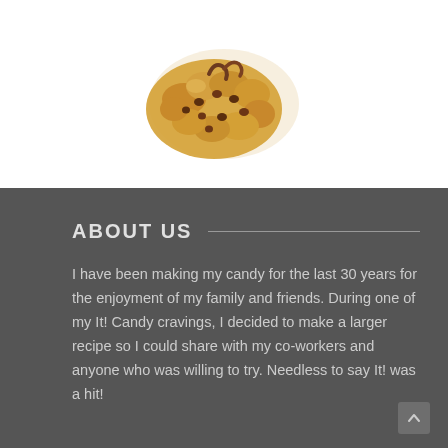[Figure (photo): A close-up photo of a chocolate chip cookie cluster or candy on a white background]
ABOUT US
I have been making my candy for the last 30 years for the enjoyment of my family and friends. During one of my It! Candy cravings, I decided to make a larger recipe so I could share with my co-workers and anyone who was willing to try. Needless to say It! was a hit!